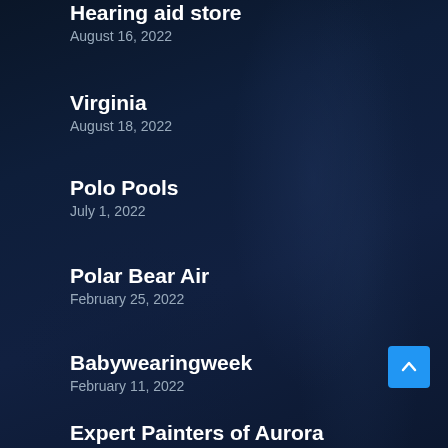Hearing aid store
August 16, 2022
Virginia
August 18, 2022
Polo Pools
July 1, 2022
Polar Bear Air
February 25, 2022
Babywearingweek
February 11, 2022
Expert Painters of Aurora